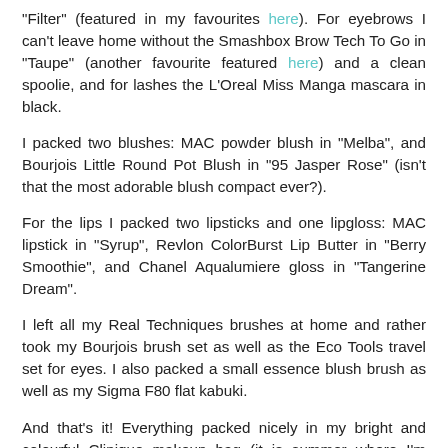"Filter" (featured in my favourites here). For eyebrows I can't leave home without the Smashbox Brow Tech To Go in "Taupe" (another favourite featured here) and a clean spoolie, and for lashes the L'Oreal Miss Manga mascara in black.
I packed two blushes: MAC powder blush in "Melba", and Bourjois Little Round Pot Blush in "95 Jasper Rose" (isn't that the most adorable blush compact ever?).
For the lips I packed two lipsticks and one lipgloss: MAC lipstick in "Syrup", Revlon ColorBurst Lip Butter in "Berry Smoothie", and Chanel Aqualumiere gloss in "Tangerine Dream".
I left all my Real Techniques brushes at home and rather took my Bourjois brush set as well as the Eco Tools travel set for eyes. I also packed a small essence blush brush as well as my Sigma F80 flat kabuki.
And that's it! Everything packed nicely in my bright and colourful Clinique makeup bag (it is summer where I'm going...